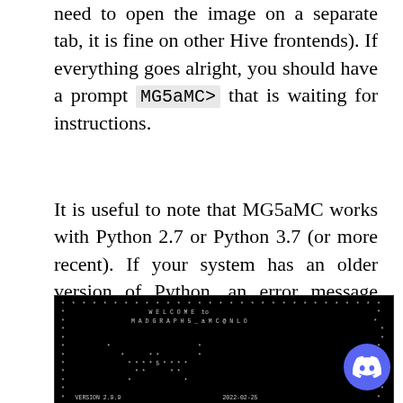need to open the image on a separate tab, it is fine on other Hive frontends). If everything goes alright, you should have a prompt MG5aMC> that is waiting for instructions.
It is useful to note that MG5aMC works with Python 2.7 or Python 3.7 (or more recent). If your system has an older version of Python, an error message appears. It indicates that a newer Python version has to be installed. Please proceed and start again this second task
[Figure (screenshot): Terminal window showing MadGraph5_aMC@NLO welcome screen, version 2.9.9, dated 2022-02-25, with ASCII art logo and team contact information.]